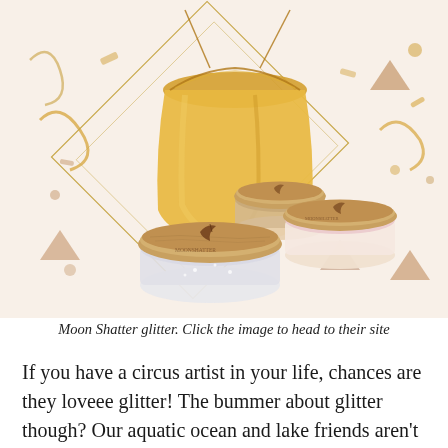[Figure (photo): Product photo of Moon Shatter glitter jars with wooden bamboo lids featuring a crescent moon logo, displayed with a gold drawstring organza gift bag, on a festive background with gold confetti, ribbons, and geometric diamond-shaped line frames.]
Moon Shatter glitter. Click the image to head to their site
If you have a circus artist in your life, chances are they loveee glitter! The bummer about glitter though? Our aquatic ocean and lake friends aren't too excited about all